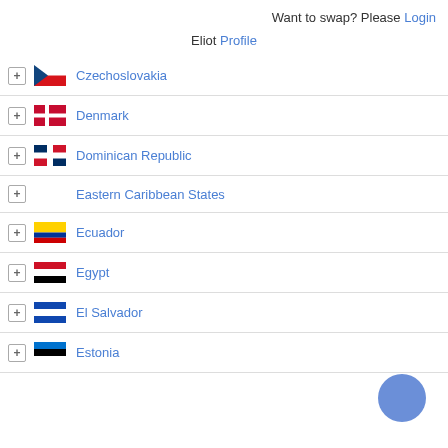Want to swap? Please Login
Eliot Profile
Czechoslovakia
Denmark
Dominican Republic
Eastern Caribbean States
Ecuador
Egypt
El Salvador
Estonia